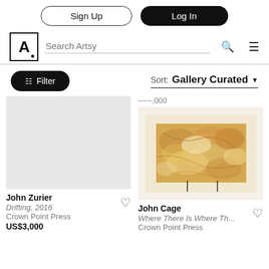Sign Up | Log In
Search Artsy
Filter | Sort: Gallery Curated
[Figure (screenshot): Gray placeholder image for John Zurier artwork]
John Zurier
Drifting, 2016
Crown Point Press
US$3,000
[Figure (photo): John Cage artwork - golden/tan textured abstract print on white background]
John Cage
Where There Is Where Th...
Crown Point Press